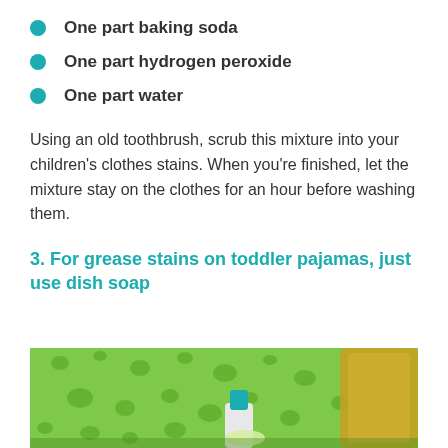One part baking soda
One part hydrogen peroxide
One part water
Using an old toothbrush, scrub this mixture into your children’s clothes stains. When you’re finished, let the mixture stay on the clothes for an hour before washing them.
3. For grease stains on toddler pajamas, just use dish soap
[Figure (photo): Close-up photo of a green sponge with dish soap being poured onto it from a clear bottle with a teal nozzle, and a yellow-green dish soap bottle visible on the right]